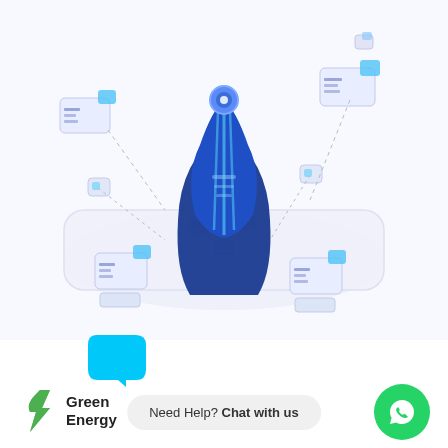[Figure (illustration): Isometric 3D illustration of a blue digital head/AI figure on a white platform, surrounded by floating server/chip icons connected by dotted lines, on a white background]
[Figure (illustration): Cyan teardrop/chat bubble shape icon]
[Figure (logo): Green Energy logo with green lightning bolt leaf icon and text 'Green Energy']
Need Help? Chat with us
[Figure (illustration): Green WhatsApp icon circle button]